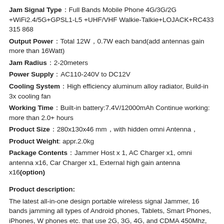Jam Signal Type：Full Bands Mobile Phone 4G/3G/2G +WiFi2.4/5G+GPSL1-L5 +UHF/VHF Walkie-Talkie+LOJACK+RC433 315 868
Output Power：Total 12W，0.7W each band(add antennas gain more than 16Watt)
Jam Radius：2-20meters
Power Supply：AC110-240V to DC12V
Cooling System：High efficiency aluminum alloy radiator, Build-in 3x cooling fan
Working Time：Built-in battery:7.4V/12000mAh Continue working: more than 2.0+ hours
Product Size：280x130x46 mm，with hidden omni Antenna，
Product Weight: appr.2.0kg
Package Contents：Jammer Host x 1, AC Charger x1, omni antenna x16, Car Charger x1, External high gain antenna x16(option)
Product description:
The latest all-in-one design portable wireless signal Jammer, 16 bands jamming all types of Android phones, Tablets, Smart Phones, iPhones, W phones etc. that use 2G, 3G, 4G, and CDMA 450Mhz, Block LOJACK